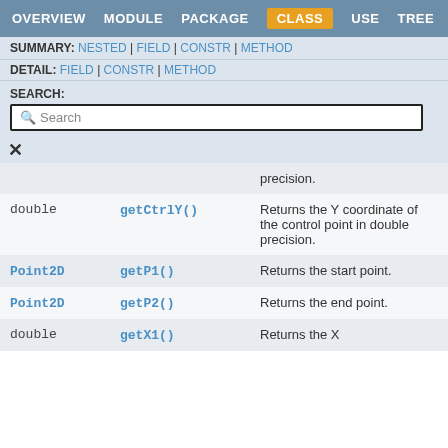OVERVIEW  MODULE  PACKAGE  CLASS  USE  TREE
SUMMARY: NESTED | FIELD | CONSTR | METHOD
DETAIL: FIELD | CONSTR | METHOD
SEARCH:
| Type | Method | Description |
| --- | --- | --- |
|  |  | precision. |
| double | getCtrlY() | Returns the Y coordinate of the control point in double precision. |
| Point2D | getP1() | Returns the start point. |
| Point2D | getP2() | Returns the end point. |
| double | getX1() | Returns the X |